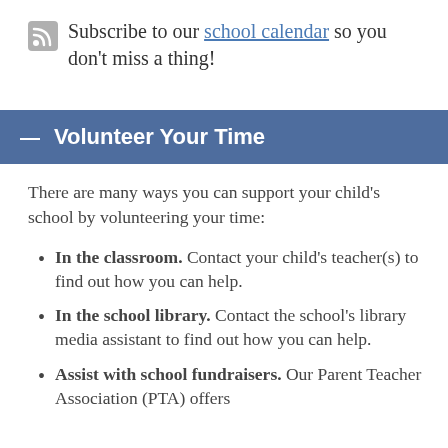Subscribe to our school calendar so you don't miss a thing!
Volunteer Your Time
There are many ways you can support your child's school by volunteering your time:
In the classroom. Contact your child's teacher(s) to find out how you can help.
In the school library. Contact the school's library media assistant to find out how you can help.
Assist with school fundraisers. Our Parent Teacher Association (PTA) offers